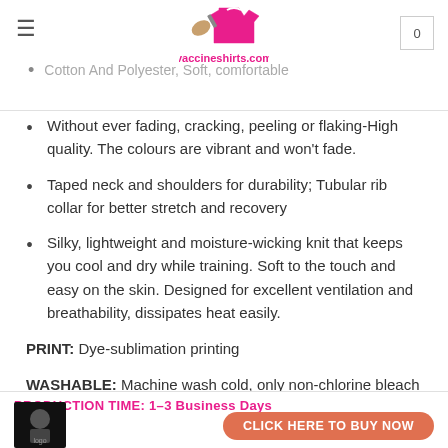vaccineshirts.com — hamburger menu, logo, cart icon 0
Without ever fading, cracking, peeling or flaking-High quality. The colours are vibrant and won't fade.
Taped neck and shoulders for durability; Tubular rib collar for better stretch and recovery
Silky, lightweight and moisture-wicking knit that keeps you cool and dry while training. Soft to the touch and easy on the skin. Designed for excellent ventilation and breathability, dissipates heat easily.
PRINT: Dye-sublimation printing
WASHABLE: Machine wash cold, only non-chlorine bleach when needed, hang dry, cool iron on the reverse side or dry clean
PRODUCTION TIME: 1–3 Business Days | CLICK HERE TO BUY NOW